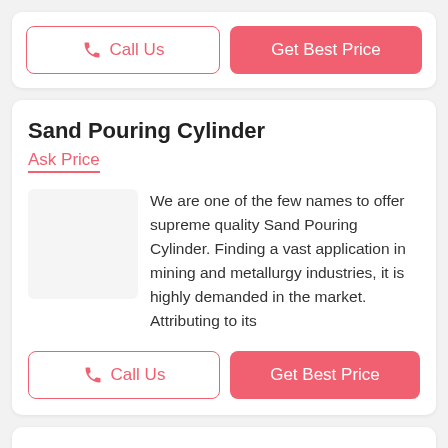Call Us | Get Best Price
Sand Pouring Cylinder
Ask Price
We are one of the few names to offer supreme quality Sand Pouring Cylinder. Finding a vast application in mining and metallurgy industries, it is highly demanded in the market. Attributing to its
Call Us | Get Best Price
Sieve Shaker Hand Operated
Ask Price